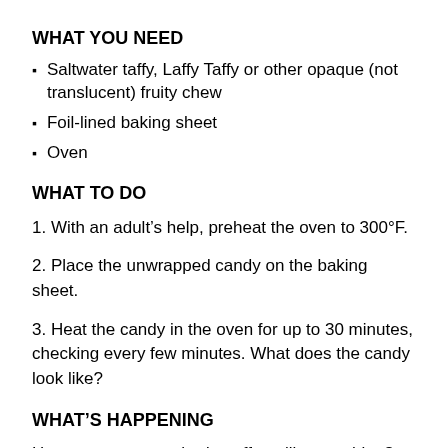WHAT YOU NEED
Saltwater taffy, Laffy Taffy or other opaque (not translucent) fruity chew
Foil-lined baking sheet
Oven
WHAT TO DO
1. With an adult’s help, preheat the oven to 300°F.
2. Place the unwrapped candy on the baking sheet.
3. Heat the candy in the oven for up to 30 minutes, checking every few minutes. What does the candy look like?
WHAT’S HAPPENING
Have you ever watched a taffy-pulling machine? Metal arms stretch and fold the soft candy, stretching and folding it over and over. As this happens, tiny air bubbles get trapped in the